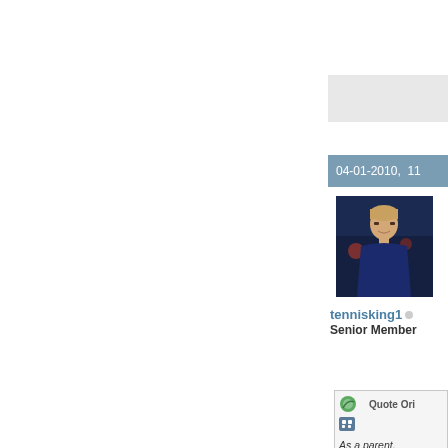04-01-2010,  11
[Figure (photo): Profile photo of forum user tennisking1, a young man in a dark blue shirt against a city background]
tennisking1 ○
Senior Member
[Figure (screenshot): Quote reply box with 'Quote Orig' header icon and italic text beginning: As a parent, shows prom... thread inter... daughter is... have no illu... she is abov... won a few t...]